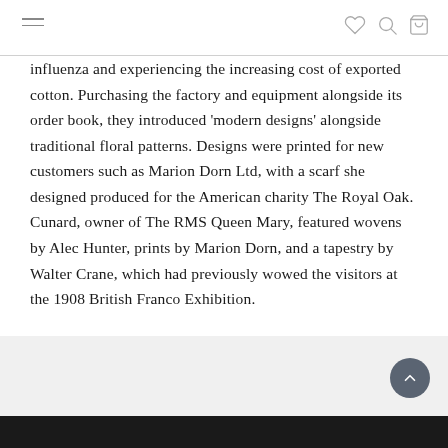[hamburger menu icon] [heart icon] [search icon] [bag icon]
influenza and experiencing the increasing cost of exported cotton. Purchasing the factory and equipment alongside its order book, they introduced ‘modern designs’ alongside traditional floral patterns. Designs were printed for new customers such as Marion Dorn Ltd, with a scarf she designed produced for the American charity The Royal Oak. Cunard, owner of The RMS Queen Mary, featured wovens by Alec Hunter, prints by Marion Dorn, and a tapestry by Walter Crane, which had previously wowed the visitors at the 1908 British Franco Exhibition.